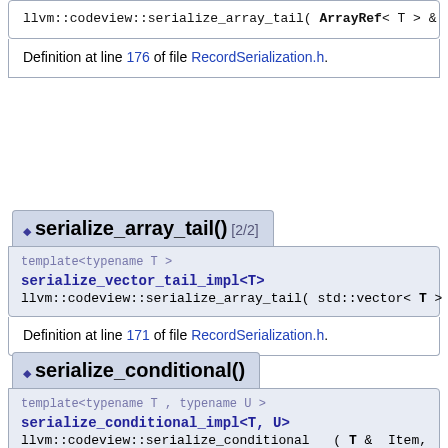llvm::codeview::serialize_array_tail  ( ArrayRef< T > & Item )
Definition at line 176 of file RecordSerialization.h.
◆ serialize_array_tail() [2/2]
template<typename T >
serialize_vector_tail_impl<T>
llvm::codeview::serialize_array_tail  ( std::vector< T > & Item )
Definition at line 171 of file RecordSerialization.h.
◆ serialize_conditional()
template<typename T , typename U >
serialize_conditional_impl<T, U>
llvm::codeview::serialize_conditional  ( T & Item,